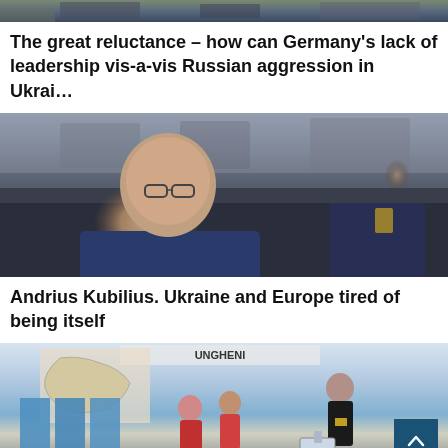[Figure (photo): Top cropped photo showing military or official figures at a podium or event, partially visible]
The great reluctance – how can Germany’s lack of leadership vis-a-vis Russian aggression in Ukrai…
[Figure (photo): Andrius Kubilius seated at a conference table, older man with glasses in blue suit, other delegates visible behind him]
Andrius Kubilius. Ukraine and Europe tired of being itself
[Figure (photo): Election polling station scene with people casting ballots, blue voting booths, map of Romania visible on wall, sign reading UNGHENI]